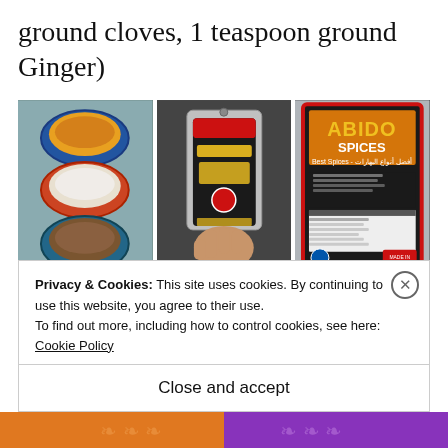ground cloves, 1 teaspoon ground Ginger)
[Figure (photo): Three photos side by side: left shows three decorative bowls with spices (turmeric, salt/white, brown spice); center shows a hand holding a spice packet labeled in Arabic with Abido brand; right shows Abido Spices branded package front with nutrition label.]
Privacy & Cookies: This site uses cookies. By continuing to use this website, you agree to their use.
To find out more, including how to control cookies, see here:
Cookie Policy
Close and accept